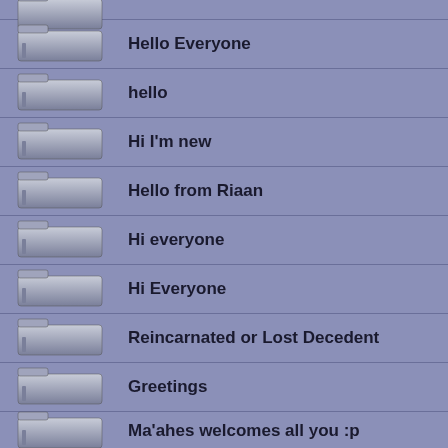Hello Everyone
hello
Hi I'm new
Hello from Riaan
Hi everyone
Hi Everyone
Reincarnated or Lost Decedent
Greetings
Ma'ahes welcomes all you :p